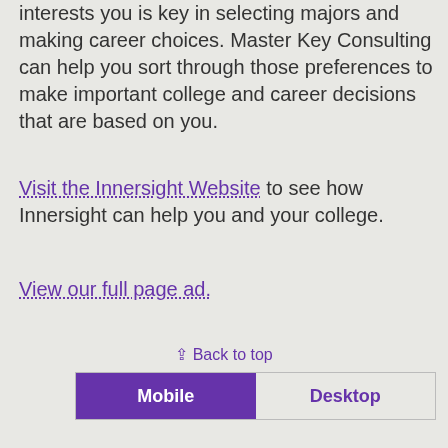interests you is key in selecting majors and making career choices. Master Key Consulting can help you sort through those preferences to make important college and career decisions that are based on you.
Visit the Innersight Website to see how Innersight can help you and your college.
View our full page ad.
⇪ Back to top
Mobile | Desktop